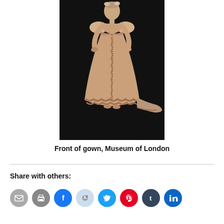[Figure (photo): A mannequin dressed in a Regency-era gown with puff sleeves, empire waist, and ornate lace trim along the hem, displayed against a black background. The gown is a pale peach/champagne color with elaborate decorative trim down the front and a train extending to the right.]
Front of gown, Museum of London
Share with others: